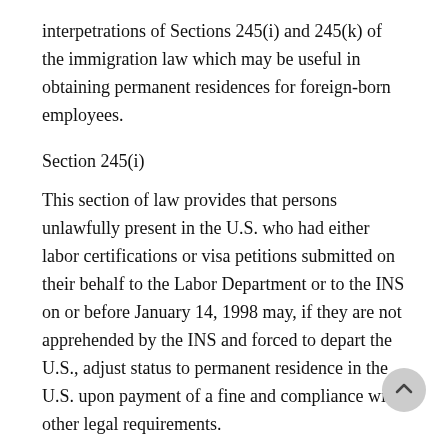interpetrations of Sections 245(i) and 245(k) of the immigration law which may be useful in obtaining permanent residences for foreign-born employees.
Section 245(i)
This section of law provides that persons unlawfully present in the U.S. who had either labor certifications or visa petitions submitted on their behalf to the Labor Department or to the INS on or before January 14, 1998 may, if they are not apprehended by the INS and forced to depart the U.S., adjust status to permanent residence in the U.S. upon payment of a fine and compliance with other legal requirements.
The question presented was whether an intending immigrant is grandfathered in under section 245(i) if he seeks to adjust status based on a different category than that which caused him to be grandfathered. Mr. Virtue